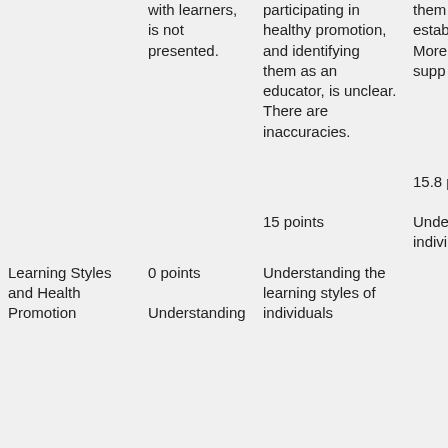| Topic | 0 points | 15 points | 15.8 points |
| --- | --- | --- | --- |
|  | with learners, is not presented. | participating in healthy promotion, and identifying them as an educator, is unclear. There are inaccuracies. | them educ gene estab There inacc More or ev need supp |
|  |  |  | 15.8 p |
| Learning Styles and Health Promotion | 0 points

Understanding | 15 points

Understanding the learning styles of individuals | Unde the le styles indivi partic healt |